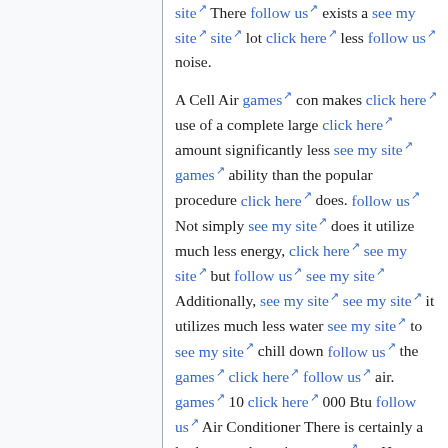site There follow us exists a see my site lot click here less follow us noise.

A Cell Air games con makes click here use of a complete large click here amount significantly less see my site games ability than the popular procedure click here does. follow us Not simply see my site does it utilize much less energy, click here see my site but follow us see my site Additionally, see my site see my site it utilizes much less water see my site to see my site chill down follow us the games click here follow us air. games 10 click here 000 Btu follow us Air Conditioner There is certainly a lot less condensation games on Home click here windows and see my site doorways, click here and click here